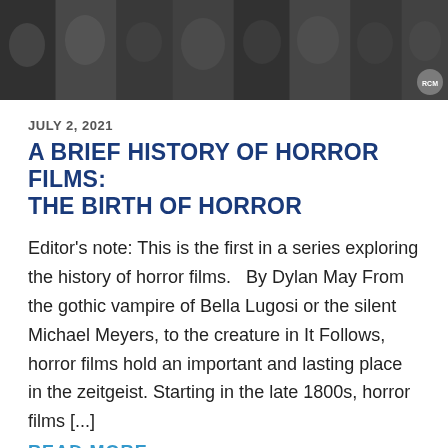[Figure (photo): Black and white banner image showing multiple horror film characters and actors arranged horizontally across the top of the page]
JULY 2, 2021
A BRIEF HISTORY OF HORROR FILMS: THE BIRTH OF HORROR
Editor’s note: This is the first in a series exploring the history of horror films.   By Dylan May From the gothic vampire of Bella Lugosi or the silent Michael Meyers, to the creature in It Follows, horror films hold an important and lasting place in the zeitgeist. Starting in the late 1800s, horror films [...]
READ MORE